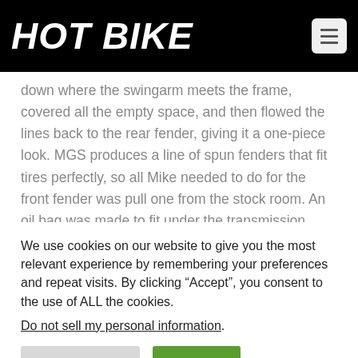HOT BIKE
down where the swingarm meets the frame, covered all the empty space, and then flowed the lines back to the rear fender, giving it a one-piece look. MGS produces a line of spun fenders that fit tires perfectly, so all Mike needed to do for the front fender was pull one from the stock room. An oil bag was made to fit under the transmission while keeping room under the seat for all the electrical.
We use cookies on our website to give you the most relevant experience by remembering your preferences and repeat visits. By clicking “Accept”, you consent to the use of ALL the cookies. Do not sell my personal information.